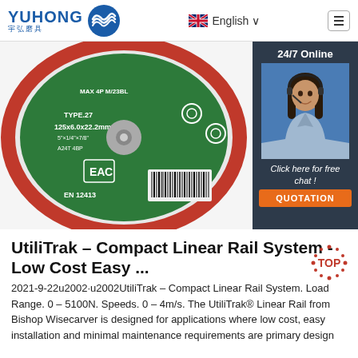YUHONG 宇弘磨具 | English | Menu
[Figure (photo): Close-up photo of a green and red grinding/cutting disc labeled TYPE 27, 125x6.0x22.2mm, A24T 4BP, EAC certified, EN 12413 standard, with barcode visible. A chat widget with a female agent wearing headset is overlaid on the right side with '24/7 Online' text, 'Click here for free chat!' message, and an orange QUOTATION button.]
UtiliTrak – Compact Linear Rail System - Low Cost Easy ...
2021-9-22u2002·u2002UtiliTrak – Compact Linear Rail System. Load Range. 0 – 5100N. Speeds. 0 – 4m/s. The UtiliTrak® Linear Rail from Bishop Wisecarver is designed for applications where low cost, easy installation and minimal maintenance requirements are primary design